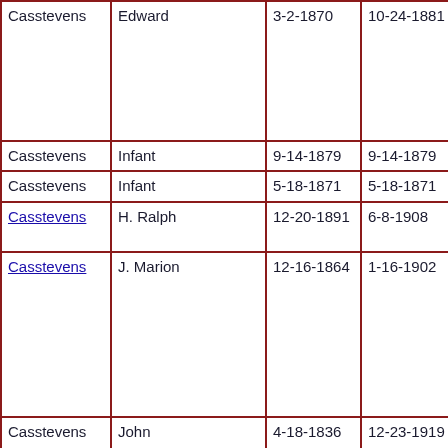| Last Name | First Name | Birth Date | Death Date | Notes |
| --- | --- | --- | --- | --- |
| Casstevens | Edward | 3-2-1870 | 10-24-1881 | So E. C. Ca |
| Casstevens | Infant | 9-14-1879 | 9-14-1879 |  |
| Casstevens | Infant | 5-18-1871 | 5-18-1871 |  |
| Casstevens | H. Ralph | 12-20-1891 | 6-8-1908 | "A fo |
| Casstevens | J. Marion | 12-16-1864 | 1-16-1902 | "G no for Hu Ma Ca Fo |
| Casstevens | John | 4-18-1836 | 12-23-1919 | Hu Sa Ca |
| Casstevens | Margaret L. | 5-27-1861 | 9-27-1865 | Da T. A. Ca |
| Casstevens | Mattie C. | 11-12-1866 | 6-20-1913 | W |